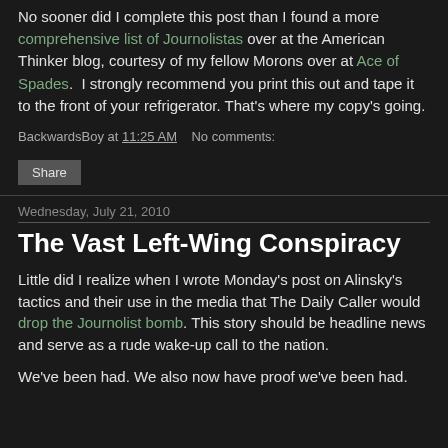No sooner did I complete this post than I found a more comprehensive list of Journolistas over at the American Thinker blog, courtesy of my fellow Morons over at Ace of Spades. I strongly recommend you print this out and tape it to the front of your refrigerator. That's where my copy's going.
BackwardsBoy at 11:25 AM   No comments:
Share
Wednesday, July 21, 2010
The Vast Left-Wing Conspiracy
Little did I realize when I wrote Monday's post on Alinsky's tactics and their use in the media that The Daily Caller would drop the Journolist bomb. This story should be headline news and serve as a rude wake-up call to the nation.
We've been had. We also now have proof we've been had.